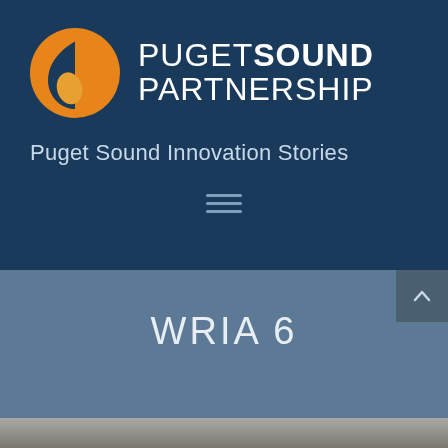[Figure (logo): Puget Sound Partnership logo — orange circle with leaf/teardrop shape, next to text 'PUGET SOUND PARTNERSHIP']
Puget Sound Innovation Stories
[Figure (other): Hamburger menu icon (three horizontal lines)]
WRIA 6
[Figure (photo): Partial photograph strip at the bottom of the page, showing a landscape scene]